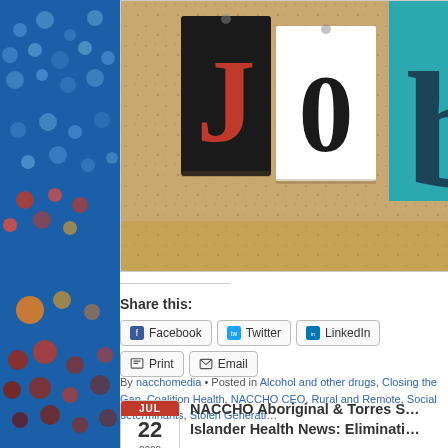[Figure (photo): Cork bulletin board with cut-out letters spelling 'Job' — a red letter J on black card, a black letter O on white card, and a teal letter b partially visible on the right.]
Share this:
Facebook  Twitter  LinkedIn  Print  Email
By nacchomedia • Posted in Alcohol and other drugs, Closing the Gap, Coalition Health, NACCHO CEO, Rural and Remote, Social determinants, Stolen Generati…
NACCHO Aboriginal & Torres S… Islander Health News: Eliminati…
JUL 22 2022